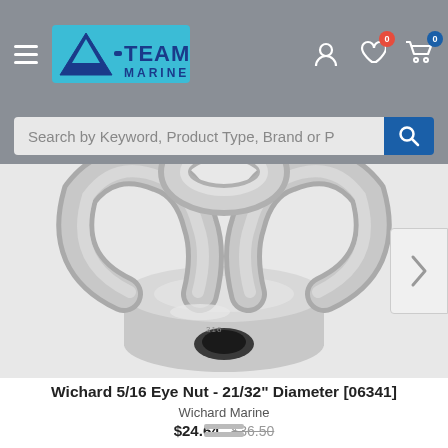A-Team Marine — navigation header with hamburger menu, logo, user icon, wishlist (0), cart (0)
Search by Keyword, Product Type, Brand or P
[Figure (photo): Close-up photo of a Wichard 5/16 Eye Nut, chrome/stainless steel, showing the eye ring at top and threaded barrel below, with a navigation arrow on the right side]
Wichard 5/16 Eye Nut - 21/32" Diameter [06341]
Wichard Marine
$24.64  $36.50